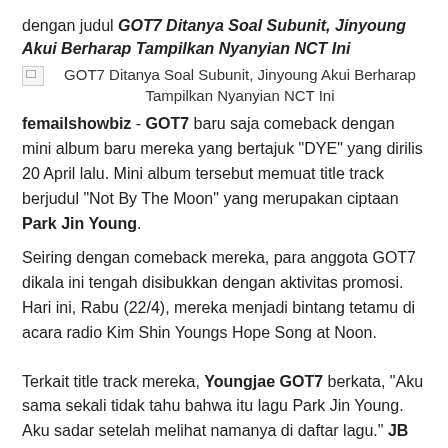dengan judul GOT7 Ditanya Soal Subunit, Jinyoung Akui Berharap Tampilkan Nyanyian NCT Ini
[Figure (photo): Broken image placeholder with caption: GOT7 Ditanya Soal Subunit, Jinyoung Akui Berharap Tampilkan Nyanyian NCT Ini]
femailshowbiz - GOT7 baru saja comeback dengan mini album baru mereka yang bertajuk "DYE" yang dirilis 20 April lalu. Mini album tersebut memuat title track berjudul "Not By The Moon" yang merupakan ciptaan Park Jin Young.
Seiring dengan comeback mereka, para anggota GOT7 dikala ini tengah disibukkan dengan aktivitas promosi. Hari ini, Rabu (22/4), mereka menjadi bintang tetamu di acara radio Kim Shin Youngs Hope Song at Noon.
Terkait title track mereka, Youngjae GOT7 berkata, "Aku sama sekali tidak tahu bahwa itu lagu Park Jin Young. Aku sadar setelah melihat namanya di daftar lagu." JB menambahkan, "...